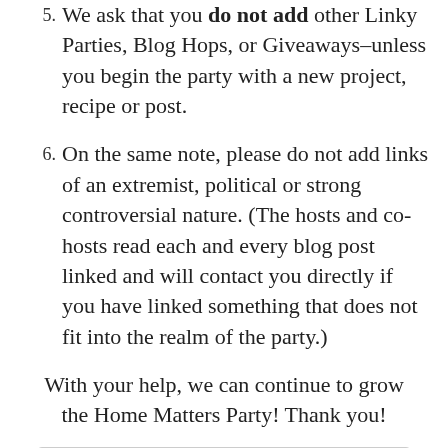5. We ask that you do not add other Linky Parties, Blog Hops, or Giveaways–unless you begin the party with a new project, recipe or post.
6. On the same note, please do not add links of an extremist, political or strong controversial nature. (The hosts and co-hosts read each and every blog post linked and will contact you directly if you have linked something that does not fit into the realm of the party.)
With your help, we can continue to grow the Home Matters Party! Thank you!
Find unique, fun birthday party ideas for every age. Linkup @